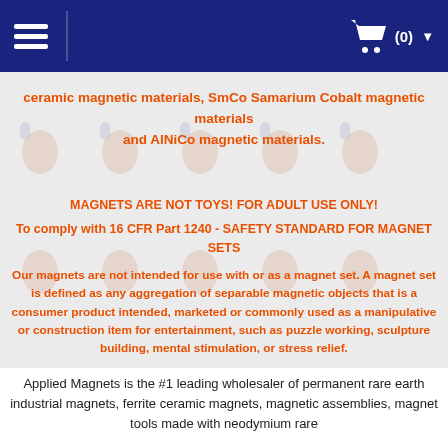(0)
ceramic magnetic materials, SmCo Samarium Cobalt magnetic materials and AlNiCo magnetic materials.
MAGNETS ARE NOT TOYS! FOR ADULT USE ONLY!
To comply with 16 CFR Part 1240 - SAFETY STANDARD FOR MAGNET SETS
Our magnets are not intended for use with or as a magnet set. A magnet set is defined as any aggregation of separable magnetic objects that is a consumer product intended, marketed or commonly used as a manipulative or construction item for entertainment, such as puzzle working, sculpture building, mental stimulation, or stress relief.
Applied Magnets is the #1 leading wholesaler of permanent rare earth industrial magnets, ferrite ceramic magnets, magnetic assemblies, magnet tools made with neodymium rare